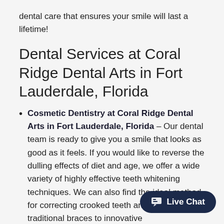dental care that ensures your smile will last a lifetime!
Dental Services at Coral Ridge Dental Arts in Fort Lauderdale, Florida
Cosmetic Dentistry at Coral Ridge Dental Arts in Fort Lauderdale, Florida – Our dental team is ready to give you a smile that looks as good as it feels.  If you would like to reverse the dulling effects of diet and age, we offer a wide variety of highly effective teeth whitening techniques.  We can also find the ideal method for correcting crooked teeth and bite.  From traditional braces to innovative